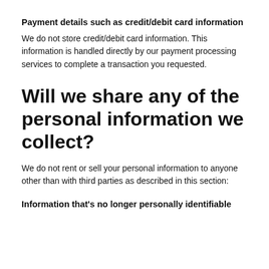Payment details such as credit/debit card information
We do not store credit/debit card information. This information is handled directly by our payment processing services to complete a transaction you requested.
Will we share any of the personal information we collect?
We do not rent or sell your personal information to anyone other than with third parties as described in this section:
Information that's no longer personally identifiable